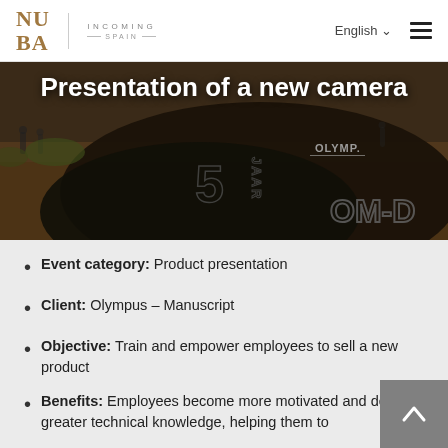NUBA INCOMING SPAIN | English | menu
[Figure (photo): Dark background with Olympus camera bag/cover showing '5 JAAR' text and 'OM-D' branding on outdoor terrain]
Presentation of a new camera
Event category: Product presentation
Client: Olympus – Manuscript
Objective: Train and empower employees to sell a new product
Benefits: Employees become more motivated and develop greater technical knowledge, helping them to